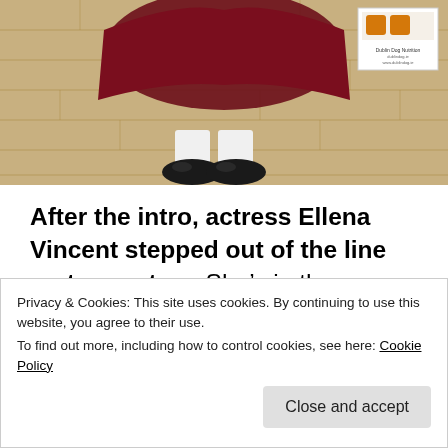[Figure (photo): Photo of lower body of a person in costume wearing dark shoes and white socks with a dark red/maroon cape or skirt, standing on a wooden floor. A small logo/watermark box is visible in the upper right corner of the photo.]
After the intro, actress Ellena Vincent stepped out of the line up to greet us. She’s in the ensemble and was in a fine gold coat over a corset and leggings. She brilliantly described her costume and let Fiona, my pawtastic human, feel all the
Privacy & Cookies: This site uses cookies. By continuing to use this website, you agree to their use.
To find out more, including how to control cookies, see here: Cookie Policy